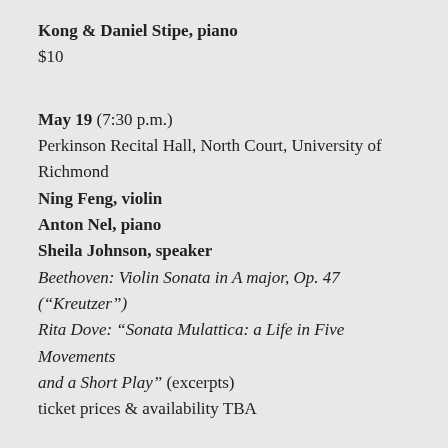Kong & Daniel Stipe, piano
$10
May 19 (7:30 p.m.)
Perkinson Recital Hall, North Court, University of Richmond
Ning Feng, violin
Anton Nel, piano
Sheila Johnson, speaker
Beethoven: Violin Sonata in A major, Op. 47 ("Kreutzer")
Rita Dove: “Sonata Mulattica: a Life in Five Movements and a Short Play” (excerpts)
ticket prices & availability TBA
May 20 (10 a.m. & 2:20 p.m.)